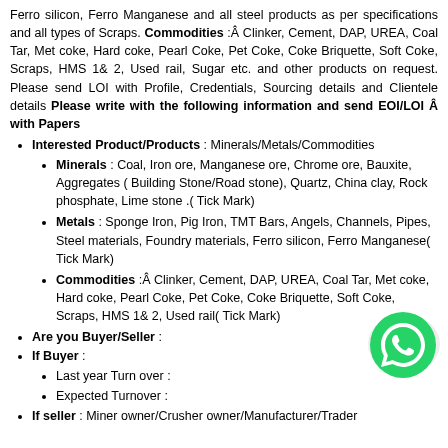Ferro silicon, Ferro Manganese and all steel products as per specifications and all types of Scraps. Commodities :Â Clinker, Cement, DAP, UREA, Coal Tar, Met coke, Hard coke, Pearl Coke, Pet Coke, Coke Briquette, Soft Coke, Scraps, HMS 1& 2, Used rail, Sugar etc. and other products on request. Please send LOI with Profile, Credentials, Sourcing details and Clientele details Please write with the following information and send EOI/LOI Â with Papers
Interested Product/Products : Minerals/Metals/Commodities
Minerals : Coal, Iron ore, Manganese ore, Chrome ore, Bauxite, Aggregates ( Building Stone/Road stone), Quartz, China clay, Rock phosphate, Lime stone .( Tick Mark)
Metals : Sponge Iron, Pig Iron, TMT Bars, Angels, Channels, Pipes, Steel materials, Foundry materials, Ferro silicon, Ferro Manganese( Tick Mark)
Commodities :Â Clinker, Cement, DAP, UREA, Coal Tar, Met coke, Hard coke, Pearl Coke, Pet Coke, Coke Briquette, Soft Coke, Scraps, HMS 1& 2, Used rail( Tick Mark)
Are you Buyer/Seller :
If Buyer :
Last year Turn over :
Expected Turnover :
If seller : Miner owner/Crusher owner/Manufacturer/Trader
[Figure (logo): WhatsApp icon - green circle with white phone handset]